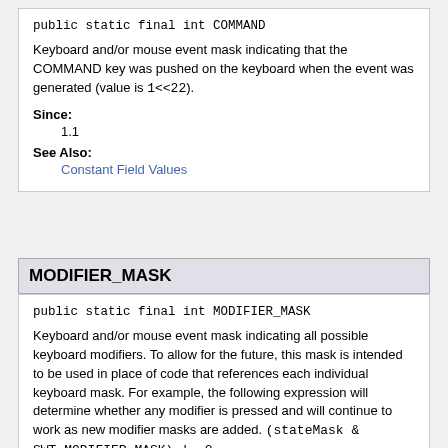public static final int COMMAND
Keyboard and/or mouse event mask indicating that the COMMAND key was pushed on the keyboard when the event was generated (value is 1<<22).
Since:
1.1
See Also:
Constant Field Values
MODIFIER_MASK
public static final int MODIFIER_MASK
Keyboard and/or mouse event mask indicating all possible keyboard modifiers. To allow for the future, this mask is intended to be used in place of code that references each individual keyboard mask. For example, the following expression will determine whether any modifier is pressed and will continue to work as new modifier masks are added. (stateMask & SWT.MODIFIER_MASK) != 0.
Since:
1.2